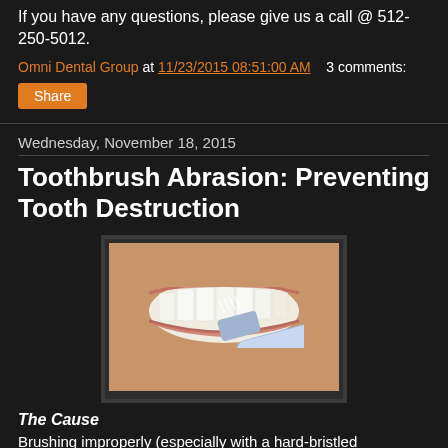If you have any questions, please give us a call @ 512-250-5012.
Omni Dental Group at 11/23/2015 08:51:00 AM   3 comments:
Share
Wednesday, November 18, 2015
Toothbrush Abrasion: Preventing Tooth Destruction
[Figure (photo): Close-up photo of a person brushing their teeth with a toothbrush, showing teeth and lips]
The Cause
Brushing improperly (especially with a hard-bristled toothbrush) can cause erosion/abrasion of your tooth or teeth. This is a very common problem. It begins as a small